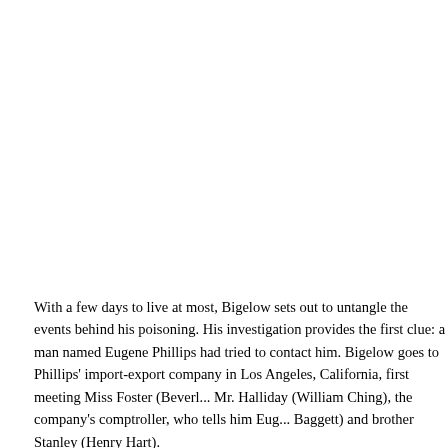With a few days to live at most, Bigelow sets out to untangle the events behind his poisoning. His investigation provides the first clue: a man named Eugene Phillips had tried to contact him. Bigelow goes to Phillips' import-export company in Los Angeles, California, first meeting Miss Foster (Beverly Garland), Phillips' secretary, then Mr. Halliday (William Ching), the company's comptroller, who tells him Eugene Phillips (Barry Kroeger), wife Paula (Baggett) and brother Stanley (Henry Hart). The key to the mystery is a bill of sale for what turns out to be stolen iridium. The trail connects Phillips' mistress, Marla Rakubian (Laurette Luez), to gangsters led by Majak (Luther Adler). Majak orders his psychotic henchman Chester (Neville Brand) to kill him. Ho...